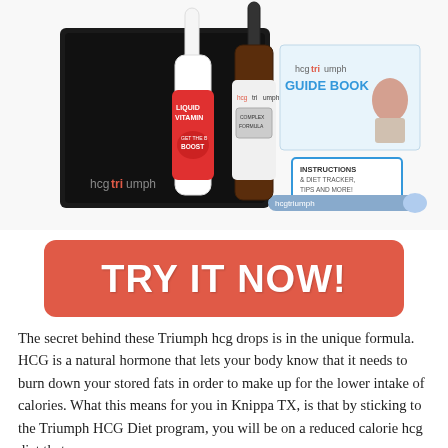[Figure (photo): HCG Triumph product kit including a white dropper bottle labeled 'Liquid Vitamin B Boost', a dark amber dropper bottle labeled 'hcg triumph Complex Formula', a guide book labeled 'hcgtriumph GUIDE BOOK' with a woman on the cover, an instructions card labeled 'INSTRUCTIONS & DIET TRACKER, TIPS AND MORE!', a syringe/pen labeled 'hcgtriumph', all arranged in front of a black box labeled 'hcgtriumph'.]
TRY IT NOW!
The secret behind these Triumph hcg drops is in the unique formula. HCG is a natural hormone that lets your body know that it needs to burn down your stored fats in order to make up for the lower intake of calories. What this means for you in Knippa TX, is that by sticking to the Triumph HCG Diet program, you will be on a reduced calorie hcg diet that may